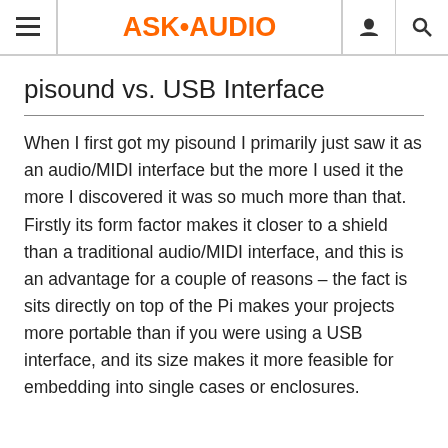ASK•AUDIO
pisound vs. USB Interface
When I first got my pisound I primarily just saw it as an audio/MIDI interface but the more I used it the more I discovered it was so much more than that. Firstly its form factor makes it closer to a shield than a traditional audio/MIDI interface, and this is an advantage for a couple of reasons – the fact is sits directly on top of the Pi makes your projects more portable than if you were using a USB interface, and its size makes it more feasible for embedding into single cases or enclosures.